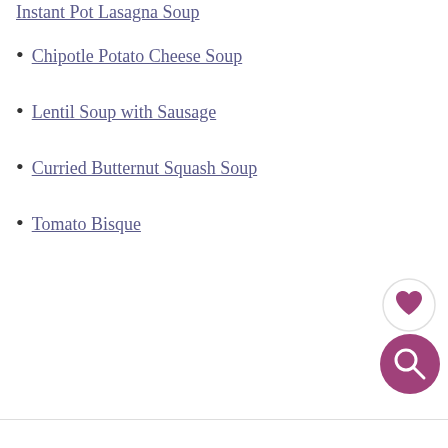Instant Pot Lasagna Soup
Chipotle Potato Cheese Soup
Lentil Soup with Sausage
Curried Butternut Squash Soup
Tomato Bisque
233